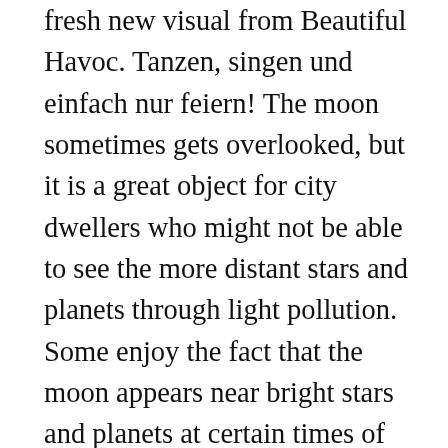fresh new visual from Beautiful Havoc. Tanzen, singen und einfach nur feiern! The moon sometimes gets overlooked, but it is a great object for city dwellers who might not be able to see the more distant stars and planets through light pollution. Some enjoy the fact that the moon appears near bright stars and planets at certain times of the month. When equipped, it grants the Lightsource: Celestial Dragon Charm mod, which can be used to illuminate dark background blocks like a Flashlight. Autoplay. Required fields are marked * Comment. The union between Khal Drogo and Daenerys Targaryen was arranged by Illyrio Mopatis andDaenerys's brother,Viserys Targaryen, who hoped to use Drogo's Dothraki